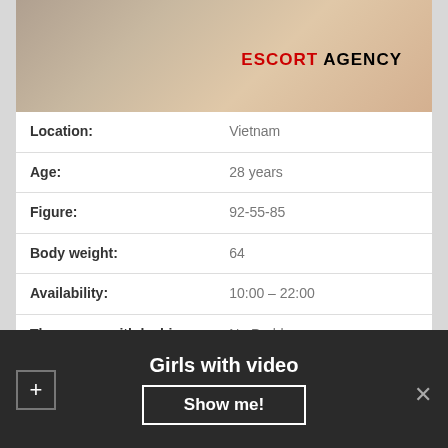[Figure (photo): Background rock/outdoor photo with ESCORT AGENCY text overlay]
| Field | Value |
| --- | --- |
| Location: | Vietnam |
| Age: | 28 years |
| Figure: | 92-55-85 |
| Body weight: | 64 |
| Availability: | 10:00 – 22:00 |
| Threesome with lesbians: | No Problem |
| Escort Preferences: | Massage Thai, Cum on breast, Receiving Oral |
| Outcall: | Only in saunas |
Girls with video
Show me!